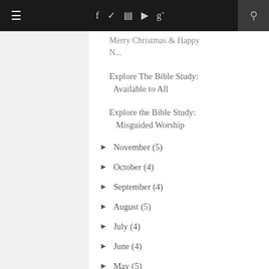≡  f  ✓  ☷  ▶  g+  🔍
Merry Christmas & Happy N...
Explore The Bible Study: Available to All
Explore the Bible Study: Misguided Worship
► November (5)
► October (4)
► September (4)
► August (5)
► July (4)
► June (4)
► May (5)